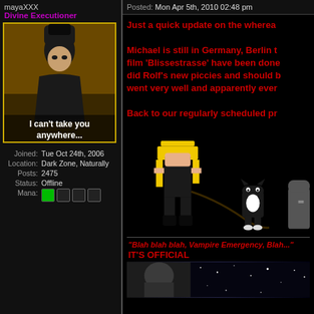mayaXXX
Divine Executioner
[Figure (photo): Avatar image of a man with tall black hair wearing dark clothing, with caption text 'I can't take you anywhere...']
| Joined: | Tue Oct 24th, 2006 |
| Location: | Dark Zone, Naturally |
| Posts: | 2475 |
| Status: | Offline |
| Mana: | [icons] |
Posted:  Mon Apr 5th, 2010 02:48 pm
Just a quick update on the wherea
Michael is still in Germany, Berlin t film 'Blissestrasse' have been done did Rolf's new piccies and should b went very well and apparently ever
Back to our regularly scheduled pr
[Figure (illustration): Pixel art illustration of a blonde woman in black leather catsuit with whip and two small cat-like creatures]
"Blah blah blah, Vampire Emergency, Blah..."
IT'S OFFICIAL
[Figure (photo): Partial view of a person's face and starry background at bottom]